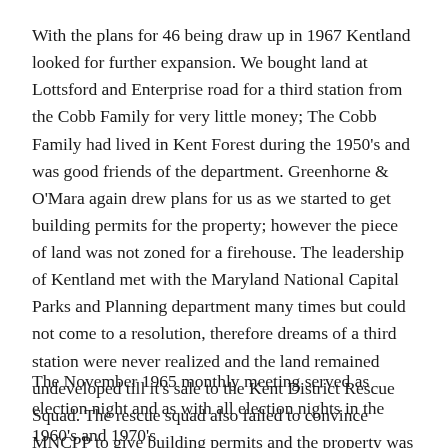With the plans for 46 being draw up in 1967 Kentland looked for further expansion. We bought land at Lottsford and Enterprise road for a third station from the Cobb Family for very little money; The Cobb Family had lived in Kent Forest during the 1950's and was good friends of the department. Greenhorne & O'Mara again drew plans for us as we started to get building permits for the property; however the piece of land was not zoned for a firehouse. The leadership of Kentland met with the Maryland National Capital Parks and Planning department many times but could not come to a resolution, therefore dreams of a third station were never realized and the land remained undeveloped till it's sale to the Kent District Rescue Squad. The rescue squad also failed to convince MNCPP to give building permits and the property was sold.
The November 1965 monthly meeting served as election night and as with all election nights in the 1960's and 1970's